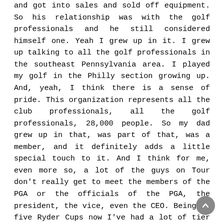and got into sales and sold off equipment. So his relationship was with the golf professionals and he still considered himself one. Yeah I grew up in it. I grew up talking to all the golf professionals in the southeast Pennsylvania area. I played my golf in the Philly section growing up. And, yeah, I think there is a sense of pride. This organization represents all the club professionals, all the golf professionals, 28,000 people. So my dad grew up in that, was part of that, was a member, and it definitely adds a little special touch to it. And I think for me, even more so, a lot of the guys on Tour don't really get to meet the members of the PGA or the officials of the PGA, the president, the vice, even the CEO. Being in five Ryder Cups now I've had a lot of tier of a lot of people and having M.G. (Orender) at home so involved in this organization, I feel a lot closer to it, because of that event. And going back and I've known the officers for the last 10 or 11 years. So it's probably 10 to 12 individuals, had dinner with them, spent weeks with them at those events. So it definitely makes me closer to this organization, where as a young player I never -- I didn't have that personal touch or that feeling. Jim, when you look at trying to determine if you're able to